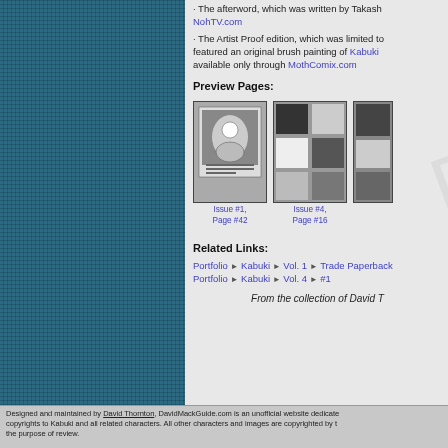· The afterword, which was written by Takashi NohTV.com
· The Artist Proof edition, which was limited to featured an original brush painting of Kabuki available only through MothComix.com
Preview Pages:
[Figure (photo): Comic book page preview - Issue #1, Page #42 - black and white illustration]
Issue #1, Page #42
[Figure (photo): Comic book page preview - Issue #4, Page #16 - black and white grid of panels]
Issue #4, Page #16
Related Links:
Portfolio ▶ Kabuki ▶ Vol. 1 ▶ Trade Paperback
Portfolio ▶ Kabuki ▶ Vol. 4 ▶ #1
From the collection of David T
Designed and maintained by David Thornton, DavidMackGuide.com is an unofficial website dedicated copyrights to Kabuki and all related characters. All other characters and images are copyrighted by the purpose of review.